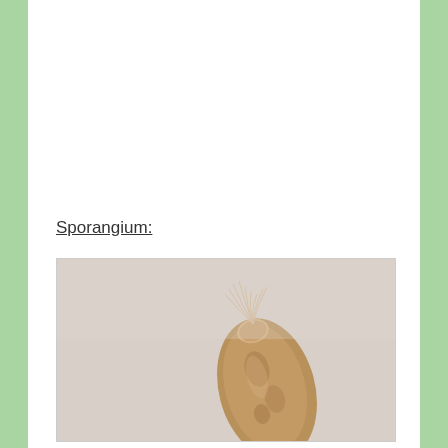Sporangium:
[Figure (photo): Close-up photograph of a sporangium — an elongated brownish seed-like structure with feathery filaments at the top, against a light gray background.]